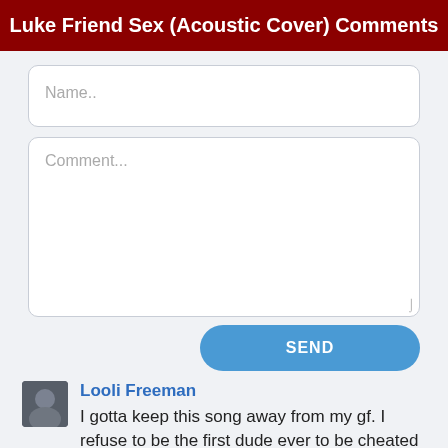Luke Friend Sex (Acoustic Cover) Comments
[Figure (screenshot): Name input text field with placeholder text 'Name..']
[Figure (screenshot): Comment textarea with placeholder text 'Comment...']
[Figure (screenshot): Blue SEND button]
[Figure (photo): User avatar thumbnail for Looli Freeman]
Looli Freeman
I gotta keep this song away from my gf. I refuse to be the first dude ever to be cheated on with a YouTube video